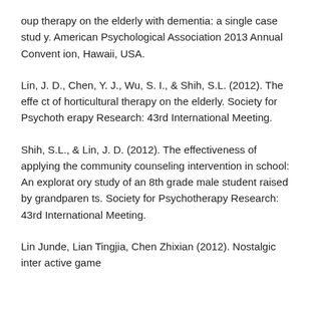oup therapy on the elderly with dementia: a single case study. American Psychological Association 2013 Annual Convention, Hawaii, USA.
Lin, J. D., Chen, Y. J., Wu, S. I., & Shih, S.L. (2012). The effect of horticultural therapy on the elderly. Society for Psychotherapy Research: 43rd International Meeting.
Shih, S.L., & Lin, J. D. (2012). The effectiveness of applying the community counseling intervention in school: An exploratory study of an 8th grade male student raised by grandparents. Society for Psychotherapy Research: 43rd International Meeting.
Lin Junde, Lian Tingjia, Chen Zhixian (2012). Nostalgic interactive game